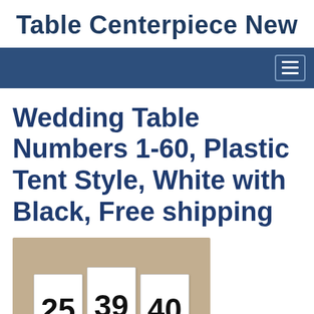Table Centerpiece New
Wedding Table Numbers 1-60, Plastic Tent Style, White with Black, Free shipping
[Figure (photo): Photo of white plastic tent-style table number cards showing numbers 25, 39, and 40 in large black text, held by hands at the bottom against a light background.]